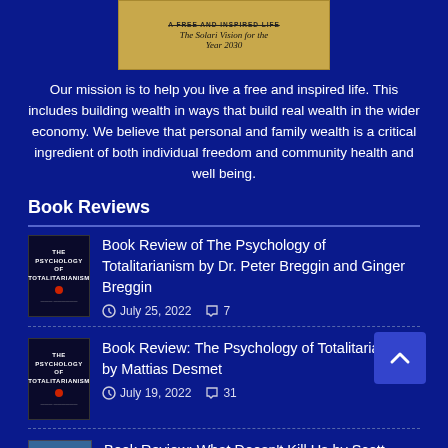[Figure (illustration): Book cover image showing 'A FREE AND INSPIRED LIFE - The Solari Vision for the Year 2030' on a tan/wood-grain background]
Our mission is to help you live a free and inspired life. This includes building wealth in ways that build real wealth in the wider economy. We believe that personal and family wealth is a critical ingredient of both individual freedom and community health and well being.
Book Reviews
[Figure (illustration): Book cover thumbnail: The Psychology of Totalitarianism (dark cover)]
Book Review of The Psychology of Totalitarianism by Dr. Peter Breggin and Ginger Breggin
July 25, 2022   7
[Figure (illustration): Book cover thumbnail: The Psychology of Totalitarianism (dark cover)]
Book Review: The Psychology of Totalitarianism by Mattias Desmet
July 19, 2022   31
[Figure (illustration): Book cover thumbnail: What Doesn't Kill Us by Scott]
Book Review: What Doesn't Kill Us by Scott